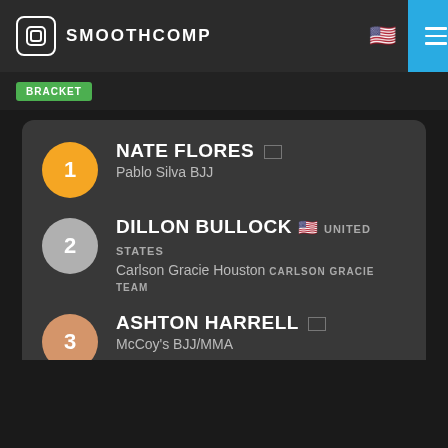[Figure (screenshot): SmoothComp app header with logo, US flag icon, and hamburger menu on blue background]
1 - NATE FLORES, Pablo Silva BJJ
2 - DILLON BULLOCK, United States, Carlson Gracie Houston, Carlson Gracie Team
3 - ASHTON HARRELL, McCoy's BJJ/MMA